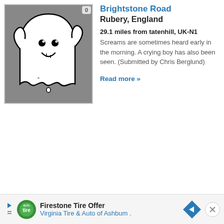[Figure (illustration): Ghost cartoon illustration on grey background with badge showing '0']
Brightstone Road
Rubery, England
29.1 miles from tatenhill, UK-N1
Screams are sometimes heard early in the morning. A crying boy has also been seen. (Submitted by Chris Berglund)
Read more »
[Figure (infographic): Advertisement bar: Firestone Tire Offer - Virginia Tire & Auto of Ashbum, with green circular logo and blue diamond arrow icon]